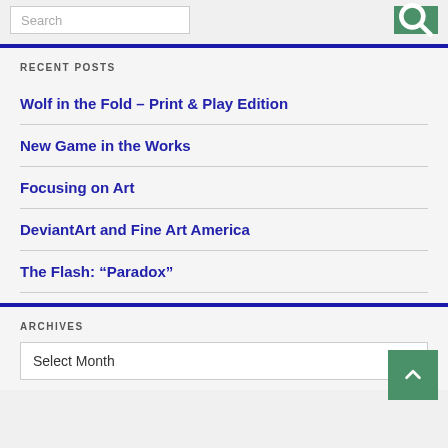Search
RECENT POSTS
Wolf in the Fold – Print & Play Edition
New Game in the Works
Focusing on Art
DeviantArt and Fine Art America
The Flash: “Paradox”
ARCHIVES
Select Month